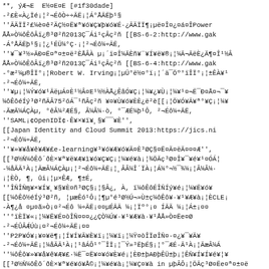**, ýÆ¬E E½¤E¤E [#1f30dade]
-²£È«À¿Ïé¡¦²¬ÉôÒ÷÷ÃË¡¦Á°ÅÃËþ¹§
''ÃÄÏÏ²£¼è¤ê²ÄÇ½¤Ë¥ª¥ó¥Ç¥þ¥ó¥É·¿ÃÄÏÏ¶¡µë¤Î¤¿¤á¤ÎPower ÅÅ»Ò¼ôÊôÂï¿®³Ø²ñ2013Ç¯Ái¹çÂç²ñ [[BS-6-2:http://www.gak -Á°ÅÃËþ¹§¡¦¿¹ÉÜ¼°Ç·¡¦²¬Éô¼÷ÃË,
''¥¯¥³½»ÃÐ¤Ë¤ª¤±¤ë²ÈÅÂÀ µ¡´ï¤Î¼ÃÈñ¥¨¥Í¥ë¥®¡¦¼Ã¬ÃëÈ¿Ä¶¤Î¹½Â ÅÅ»Ò¼ôÊôÂï¿®³Ø²ñ2013Ç¯Ái¹çÂç²ñ [[BS-6-4:http://www.gak -°æ²¼µ®ÎÏ°¡¦Robert W. Irving¡¦µÜ°ë½¤°ï¡¦´ä¯Öº°ïÎÏ°¡¦±ÊÀ¥¹ -²¬Éô¼÷ÃË,
''¥µ¡¦¼Ý¥ó¥¹ÃëµÁ¤È¹½Â¤E¹½½ÀÅ¿ÊâÓ¥Ç¡¦¼¥¿¥Ù¡¦¼¥¹¤¬Ë¯Ð¤Å¤¬¯¥Í¥Ã¥È¥ï¡¦¼Ý¡¦¼ôÊôéÍý³Ø²ñÃÂ75²óÁ¯¹ñÂç²ñ ¥¤¥Ù¥ó¥ÈÈ¿ë²è[[¡¦Ö¥Ó¥Ã¥ª°¥Ç¡¦¼¥ -ÃæÃ¼ÁÇÀµ, °êÂ¼²ÆÉ§, Â¼Â¼·ò, °¯ÆÉ¼þ¹Ô, ²¬Éô¼÷ÃË,
''SAML¡¢OpenIDÏ¢·Ê¥×¥ï¥¸§¥¯¯¥È'',
[[Japan Identity and Cloud Summit 2013:https://jics.ni -²¬Éô¼÷ÃË,
''¥»¥¥å¥ê¥Æ¥£e-learning¥³¥ó¥Æ¥ó¥Ä¤È³ØÇ§¤Ë¤Ä¤ëÄ¤¤¤Æ'',
[[³Ø½Ñ¼ôÊô´ðÈ×¥ª¥ë¥Æ¥ì¥ó¥Ç¥Ç¡¦¼¥é¥à¡¦¾ÖÃç³Ø¤Î¥¯¥é¥¹¤¥ÓÁ¦ -¼åÃÃ¹À¡¦ÃæÂ¼ÁÇÀµ¡¦²¬Éô¼÷ÃË¡¦¸ÂÂ¼Î´ÏÀ¡¦Á¼°¬½¯¾¼¡¦Â¼Â¼· ¡¦ÈÒ, ¶, ûi¡¦µ×ÊÆ, ¶±É,
''ÎÑÎÑɱ¥×¥Í¥¸¥§¥È¤ñ³ØÇ§¡¦§Â¿, À, ï¼ôÊôÉÎÑÍý¥é¡¦¼¥Ë¥ó¥ 0¥ [[¼ôÊô½éÍý³Ø²ñ, ¦µæÊó¹Ô¡¦¶µ°é³Ø½Ú¬»Ù±ç¼ôÊô¥·¥¹¥Æ¥à¡¦ÈCLE¡ -À¶¿å ¤µ¤ã»Ò¡¤²¬Éô ¼÷ÃË¡¤¤µÉÃÄ ¼¡¦Ïº°¡¤ ÍÃÄ ¼¡¦Á±¡¤¤
''°ïÈÏ¥«¡¦¼¥Ë¥É¤òÎÑ¤¤¤¿¿ÇÒ¼Ú¥·¥¹¥Æ¥à·¥¹ÅÅ»Ò¤Ëe¤Ø
''ÃÃ¤òÊÀÉ¡¤Ë¤ÈâÁ¿ÃÃ¤ëÈñÓ¤Þ¤Ã¤¤¤Æ'',
 -²¬ÉÛÂǼÚù¡¤²¬Éô¼÷ÃË¡¤¤
''P2P¥Ó¥¡¥¤¥ë¶¡¦Í¥Í¥Ã¥È¥ï¡¦¼¥ï¡¦¼Ÿ­¤òÎÏøÎÑ¤·¤¿¥¯¥Ä¥ -²¬Éô¼÷ÃË¡¦¼åÃÃ¹À¡¦¹âÁÔ¹°¯ÎÏ¡¦¯Ý»³ËþÉ§¡¦°¯ÆÉ·Ã¹À¡¦ÃæÂ¼Á ''¼ôÊô¥»¥¥å¥ê¥Æ¥£·¼Ë¯¤Ë¥¤¥ó¥È¥é¡¦ÈÐ±þAÐþÊÜ±þ¡¦ÊÑ¥Í¥Í¥é¥¦¥ [[³Ø½Ñ¼ôÊô´ðÈ×¥ª¥é¥ó¥Å©¡¦¼¥é¥à¡¦¼¥Ç¤¥à in µþÂÔ¡¦ÖÃç³Ø¤Ëe¤ª¤±¤ë
2012Ç¯11·13Ü.
-¹â «¹¥Ãë¡¤þÊ¿¿Å ÷+Ñi¡¤þÉÛ+°²¡¦Ïº°¡¦ÐÀÆ&¼ÄÎ»Ò¡¤¤¹»ÎÊ¥ÉÌÀ¡¤¡ us